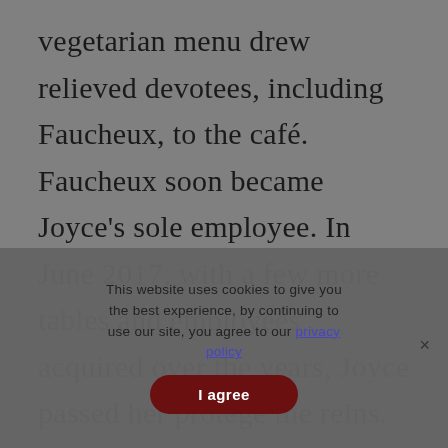vegetarian menu drew relieved devotees, including Faucheux, to the café. Faucheux soon became Joyce's sole employee. In June 2017, with a few more tables and employees acquired over the years, Joyce passed her protégé the reins. And not two months later,
This website uses cookies to give you the best experience, by continuing to use our site, you agree to our privacy policy
I agree